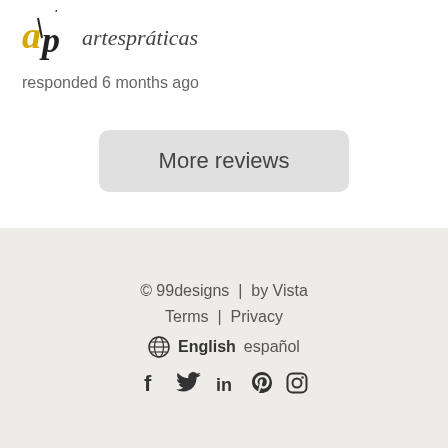[Figure (logo): artespráticas logo: stylized 'ap' letters in black and yellow italic with accent mark]
artespráticas
responded 6 months ago
More reviews
© 99designs | by Vista
Terms | Privacy
English español
f (facebook) (twitter) in (linkedin) (pinterest) (instagram)